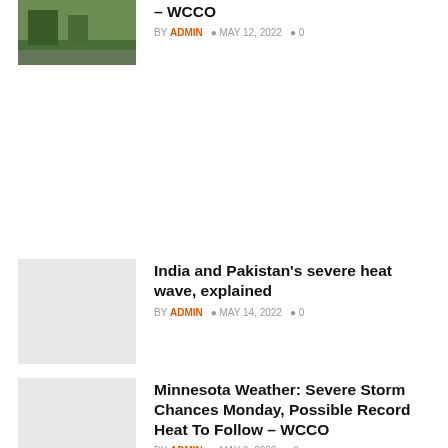[Figure (photo): Thumbnail photo of outdoor scene (top left, partially visible)]
– WCCO
BY ADMIN  MAY 12, 2022  0
[Figure (photo): Light gray thumbnail for India and Pakistan heat wave article]
India and Pakistan's severe heat wave, explained
BY ADMIN  MAY 14, 2022  0
[Figure (photo): Light gray thumbnail for Minnesota Weather article]
Minnesota Weather: Severe Storm Chances Monday, Possible Record Heat To Follow – WCCO
BY ADMIN  MAY 9, 2022  0
[Figure (photo): Light gray thumbnail for Severe Storms article]
Severe Storms Across The Southeast And Mid-Atlantic Threaten More Than 70 Million People – CBS Tampa